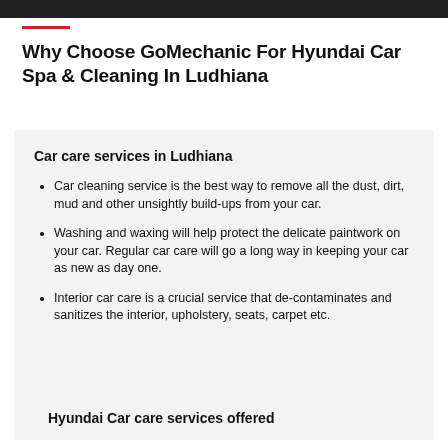Why Choose GoMechanic For Hyundai Car Spa & Cleaning In Ludhiana
Car care services in Ludhiana
Car cleaning service is the best way to remove all the dust, dirt, mud and other unsightly build-ups from your car.
Washing and waxing will help protect the delicate paintwork on your car. Regular car care will go a long way in keeping your car as new as day one.
Interior car care is a crucial service that de-contaminates and sanitizes the interior, upholstery, seats, carpet etc.
Hyundai Car care services offered